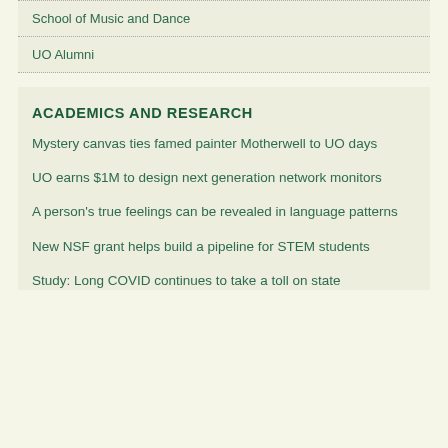School of Music and Dance
UO Alumni
ACADEMICS AND RESEARCH
Mystery canvas ties famed painter Motherwell to UO days
UO earns $1M to design next generation network monitors
A person's true feelings can be revealed in language patterns
New NSF grant helps build a pipeline for STEM students
Study: Long COVID continues to take a toll on state